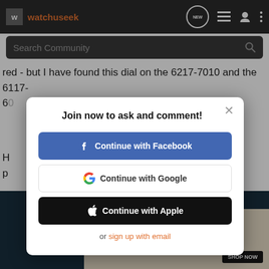watchuseek
Search Community
red - but I have found this dial on the 6217-7010 and the 6117-60
[Figure (screenshot): Modal dialog popup on watchuseek website with options to join/login via Facebook, Google, Apple, or email]
Join now to ask and comment!
Continue with Facebook
Continue with Google
Continue with Apple
or sign up with email
Most Stylish Watch Case, In Any Case.
SHOP NOW